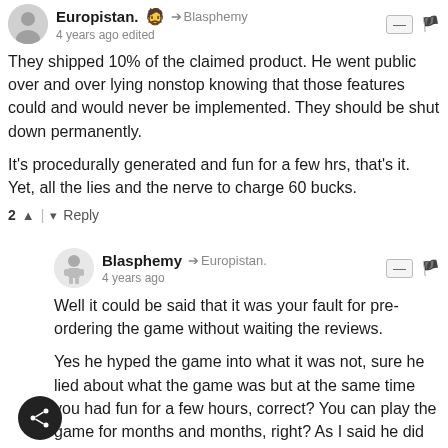Europistan. 🧔 → Blasphemy  4 years ago edited
They shipped 10% of the claimed product. He went public over and over lying nonstop knowing that those features could and would never be implemented. They should be shut down permanently.

It's procedurally generated and fun for a few hrs, that's it. Yet, all the lies and the nerve to charge 60 bucks.
2 ▲ | ▾  Reply
Blasphemy → Europistan.  4 years ago
Well it could be said that it was your fault for pre-ordering the game without waiting the reviews.

Yes he hyped the game into what it was not, sure he lied about what the game was but at the same time you had fun for a few hours, correct? You can play the game for months and months, right? As I said he did hype it into what it was not but you could have waited.